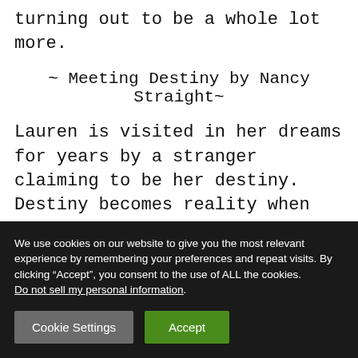turning out to be a whole lot more.
~ Meeting Destiny by Nancy Straight~
Lauren is visited in her dreams for years by a stranger claiming to be her destiny. Destiny becomes reality when paths cross during a failed robbery attempt. Lauren and the stranger experience chemistry like no other. Soon Lauren is in
We use cookies on our website to give you the most relevant experience by remembering your preferences and repeat visits. By clicking “Accept”, you consent to the use of ALL the cookies. Do not sell my personal information.
Cookie Settings
Accept